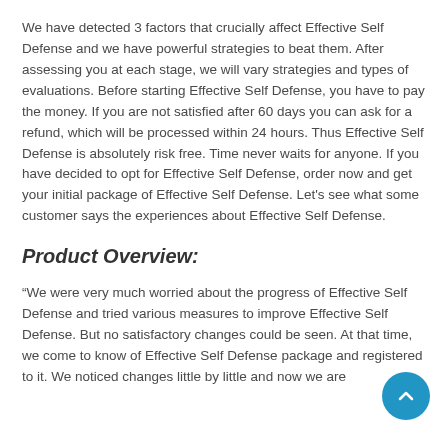We have detected 3 factors that crucially affect Effective Self Defense and we have powerful strategies to beat them. After assessing you at each stage, we will vary strategies and types of evaluations. Before starting Effective Self Defense, you have to pay the money. If you are not satisfied after 60 days you can ask for a refund, which will be processed within 24 hours. Thus Effective Self Defense is absolutely risk free. Time never waits for anyone. If you have decided to opt for Effective Self Defense, order now and get your initial package of Effective Self Defense. Let's see what some customer says the experiences about Effective Self Defense.
Product Overview:
“We were very much worried about the progress of Effective Self Defense and tried various measures to improve Effective Self Defense. But no satisfactory changes could be seen. At that time, we come to know of Effective Self Defense package and registered to it. We noticed changes little by little and now we are